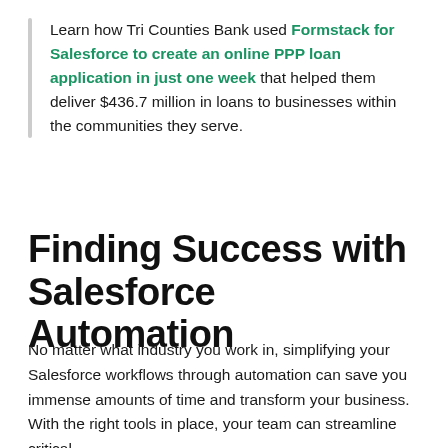Learn how Tri Counties Bank used Formstack for Salesforce to create an online PPP loan application in just one week that helped them deliver $436.7 million in loans to businesses within the communities they serve.
Finding Success with Salesforce Automation
No matter what industry you work in, simplifying your Salesforce workflows through automation can save you immense amounts of time and transform your business. With the right tools in place, your team can streamline critical